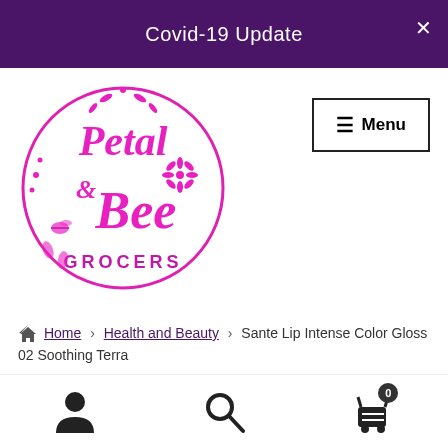Covid-19 Update
[Figure (logo): Petal & Bee Grocers circular logo in magenta/hot pink color with floral and bee decorative elements]
≡ Menu
🏠 Home › Health and Beauty › Sante Lip Intense Color Gloss 02 Soothing Terra